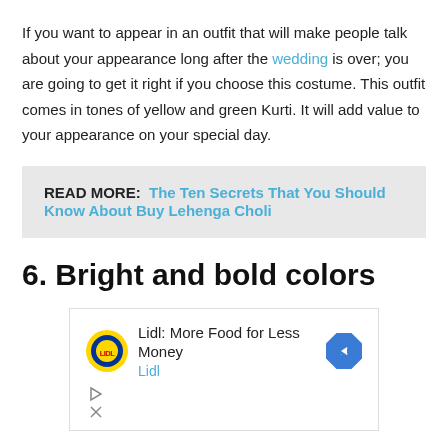If you want to appear in an outfit that will make people talk about your appearance long after the wedding is over; you are going to get it right if you choose this costume. This outfit comes in tones of yellow and green Kurti. It will add value to your appearance on your special day.
READ MORE: The Ten Secrets That You Should Know About Buy Lehenga Choli
6. Bright and bold colors
[Figure (other): Lidl advertisement banner showing Lidl logo, text 'Lidl: More Food for Less Money' with Lidl subtext, and a blue diamond arrow icon. Ad controls (play and close icons) shown below.]